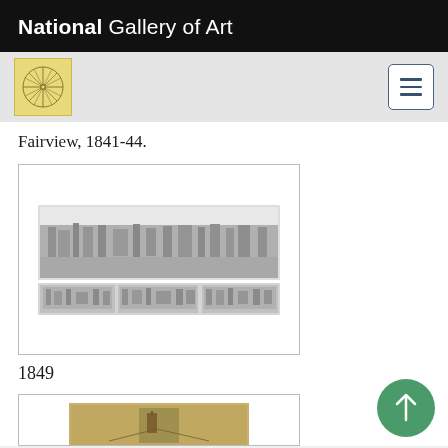National Gallery of Art
Fairview, 1841-44.
[Figure (photo): Black and white panoramic print of a city/town view from above, with smaller vignette images below, dated 1849]
1849
[Figure (photo): Partial view of a second artwork card with a sepia/brown-toned image, partially visible at the bottom of the page]